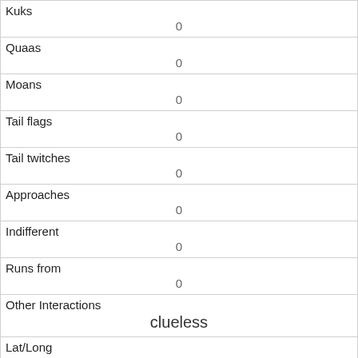| Kuks | 0 |
| Quaas | 0 |
| Moans | 0 |
| Tail flags | 0 |
| Tail twitches | 0 |
| Approaches | 0 |
| Indifferent | 0 |
| Runs from | 0 |
| Other Interactions | clueless |
| Lat/Long | POINT (-73.9743825557804 40.7674812627373) |